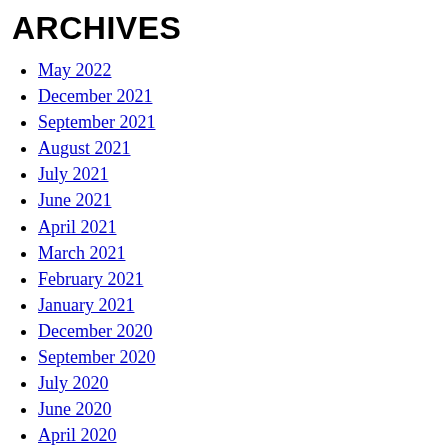ARCHIVES
May 2022
December 2021
September 2021
August 2021
July 2021
June 2021
April 2021
March 2021
February 2021
January 2021
December 2020
September 2020
July 2020
June 2020
April 2020
March 2020
February 2020
January 2020
December 2019
November 2019
October 2019
September 2019
August 2019